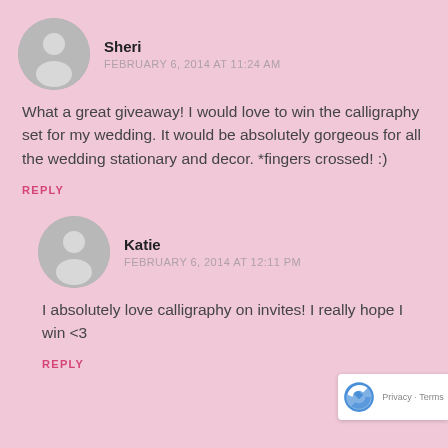[Figure (illustration): Gray circular avatar icon with silhouette of person, for user Sheri]
Sheri
FEBRUARY 6, 2014 AT 11:24 AM
What a great giveaway! I would love to win the calligraphy set for my wedding. It would be absolutely gorgeous for all the wedding stationary and decor. *fingers crossed! :)
REPLY
[Figure (illustration): Gray circular avatar icon with silhouette of person, for user Katie]
Katie
FEBRUARY 6, 2014 AT 12:11 PM
I absolutely love calligraphy on invites! I really hope I win <3
REPLY